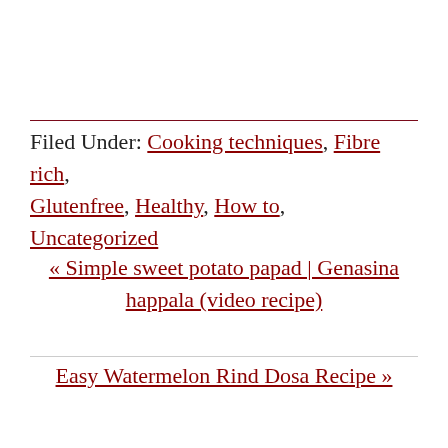Filed Under: Cooking techniques, Fibre rich, Glutenfree, Healthy, How to, Uncategorized
« Simple sweet potato papad | Genasina happala (video recipe)
Easy Watermelon Rind Dosa Recipe »